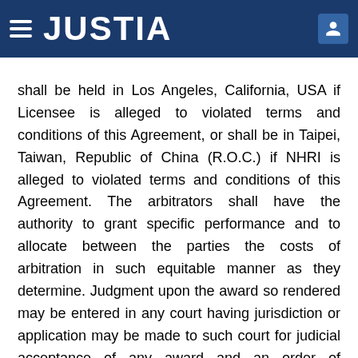JUSTIA
shall be held in Los Angeles, California, USA if Licensee is alleged to violated terms and conditions of this Agreement, or shall be in Taipei, Taiwan, Republic of China (R.O.C.) if NHRI is alleged to violated terms and conditions of this Agreement. The arbitrators shall have the authority to grant specific performance and to allocate between the parties the costs of arbitration in such equitable manner as they determine. Judgment upon the award so rendered may be entered in any court having jurisdiction or application may be made to such court for judicial acceptance of any award and an order of enforcement, as the case may be. In no event shall a demand for arbitration be made after the date when institution of a legal or equitable proceeding based upon such claim,